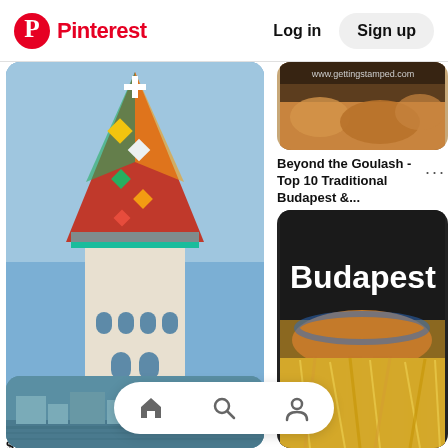Pinterest  Log in  Sign up
[Figure (photo): Church tower of Matthias Church, Budapest, Hungary - colorful geometric patterned spire against blue sky]
$29.56
Church tower Matthias church Budapest Hungary by Matthias Hauser
Matthias Hauser - Website
[Figure (photo): Food photo - traditional Hungarian dish, top portion of card]
Beyond the Goulash - Top 10 Traditional Budapest &...
[Figure (photo): Budapest food photo with large white 'Budapest' text overlay on dark background, showing cheese-topped dish]
[Figure (photo): River view of Budapest with buildings along the Danube]
Home  Search  Profile